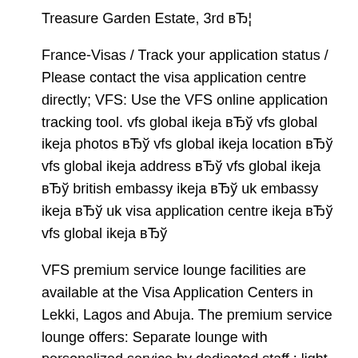Treasure Garden Estate, 3rd вЂ¦
France-Visas / Track your application status / Please contact the visa application centre directly; VFS: Use the VFS online application tracking tool. vfs global ikeja вЂў vfs global ikeja photos вЂў vfs global ikeja location вЂў vfs global ikeja address вЂў vfs global ikeja вЂў british embassy ikeja вЂў uk embassy ikeja вЂў uk visa application centre ikeja вЂў vfs global ikeja вЂў
VFS premium service lounge facilities are available at the Visa Application Centers in Lekki, Lagos and Abuja. The premium service lounge offers: Separate lounge with personalized service by dedicated staff ; light refreshments ; Faster submission of applications at the visa application centre Our dedicated Customer Service Centre will be happy to respond to any query you Please add our email address Schengen